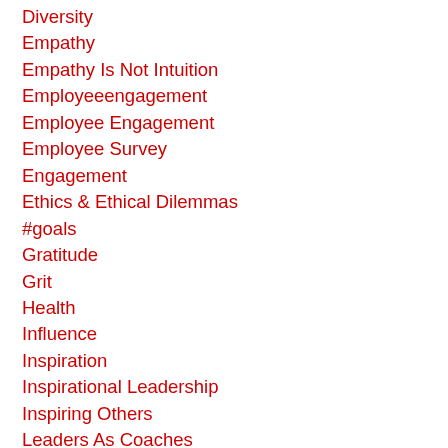Diversity
Empathy
Empathy Is Not Intuition
Employeeengagement
Employee Engagement
Employee Survey
Engagement
Ethics & Ethical Dilemmas
#goals
Gratitude
Grit
Health
Influence
Inspiration
Inspirational Leadership
Inspiring Others
Leaders As Coaches
Leadership
#leadership
Leadership Development
Leadership Skills